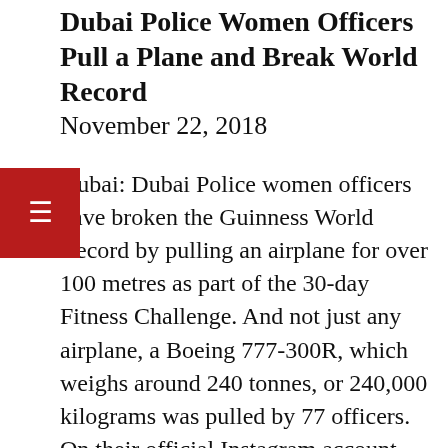Dubai Police Women Officers Pull a Plane and Break World Record
November 22, 2018
Dubai: Dubai Police women officers have broken the Guinness World Record by pulling an airplane for over 100 metres as part of the 30-day Fitness Challenge. And not just any airplane, a Boeing 777-300R, which weighs around 240 tonnes, or 240,000 kilograms was pulled by 77 officers. On their official Instagram account, Dubai Police shared videos and pictures from the event, which was held this morning. As part of the Dubai Fitness Challenge, which ends on November 24, they took on this feat and succeeded. A delegation from the Guinness World Records was present on site and awarded a certificate to Major General